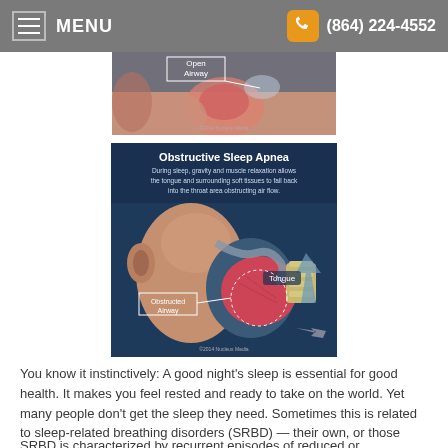MENU  (864) 224-4552
[Figure (illustration): Partial medical illustration showing an open airway cross-section of the throat/neck area with label 'Open Airway']
[Figure (illustration): Medical illustration titled 'Obstructive Sleep Apnea' showing a cross-section of a person's head and throat. Text reads: 'During sleep, gravity and muscle relaxation allows the tongue and surrounding soft tissues to fall back into the throat area obstructing air flow.' Labels show 'Obstructed Airway' and 'Tongue'.]
You know it instinctively: A good night's sleep is essential for good health. It makes you feel rested and ready to take on the world. Yet many people don't get the sleep they need. Sometimes this is related to sleep-related breathing disorders (SRBD) — their own, or those experienced by their sleeping partners.
SRBD is characterized by recurrent episodes of reduced or